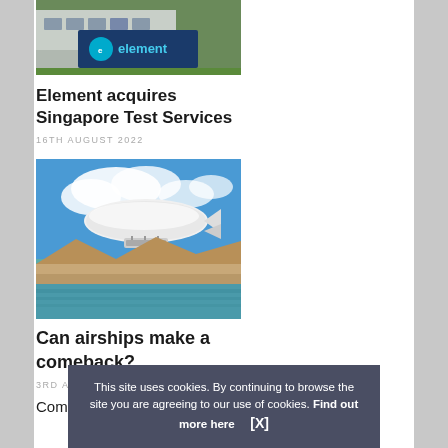[Figure (photo): Element company sign with teal/blue logo outdoors on grass]
Element acquires Singapore Test Services
16TH AUGUST 2022
[Figure (photo): White airship/blimp flying over a coastal desert landscape with blue sky and clouds]
Can airships make a comeback?
3RD AUGUST 2...
Comments...
This site uses cookies. By continuing to browse the site you are agreeing to our use of cookies. Find out more here   [X]